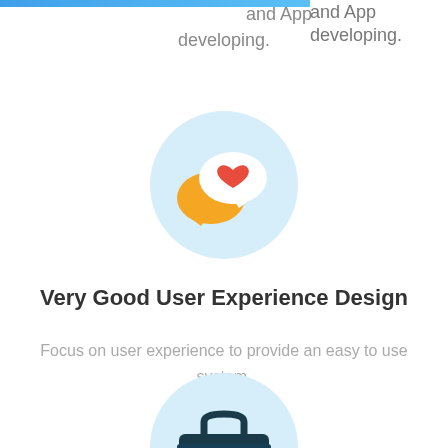and App developing.
[Figure (illustration): Light blue circle with chat bubble icons: a yellow speech bubble and a white speech bubble containing a red heart, representing user experience / messaging.]
Very Good User Experience Design
Focus on user experience to provide an easy to use system.
[Figure (illustration): Light blue circle with a dark navy briefcase icon with a gold clasp.]